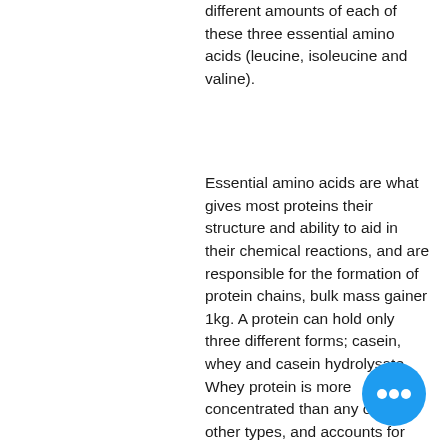different amounts of each of these three essential amino acids (leucine, isoleucine and valine).
Essential amino acids are what gives most proteins their structure and ability to aid in their chemical reactions, and are responsible for the formation of protein chains, bulk mass gainer 1kg. A protein can hold only three different forms; casein, whey and casein hydrolysate. Whey protein is more concentrated than any of the other types, and accounts for around 95% of all protein in the human diet, bulking on intermittent fasting bodybuilding. Casein protein is even lower and comprises an amount similar to milk protein, and is also the most available for a protein powder.
When protein is ingested, it is usually by weight, mass gainer 9kg muscletech. Protein and amino acids are then dispersed